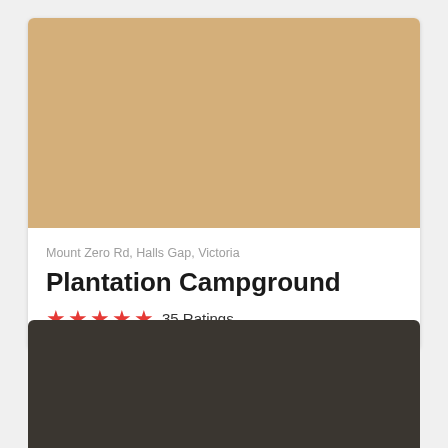[Figure (photo): Tan/beige colored placeholder image at the top of the campground listing card]
Mount Zero Rd, Halls Gap, Victoria
Plantation Campground
★★★★★ 35 Ratings
[Figure (photo): Dark brown/charcoal colored placeholder image panel at the bottom of the page]